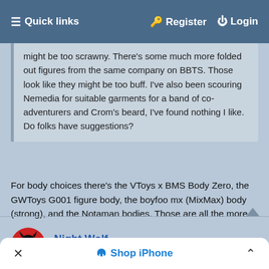☰ Quick links    🔑 Register    ⏻ Login
might be too scrawny. There's some much more folded out figures from the same company on BBTS. Those look like they might be too buff. I've also been scouring Nemedia for suitable garments for a band of co-adventurers and Crom's beard, I've found nothing I like. Do folks have suggestions?
For body choices there's the VToys x BMS Body Zero, the GWToys G001 figure body, the boyfoo mx (MixMax) body (strong), and the Notaman bodies. Those are all the more muscular figure bodies that I know of...
Night Wolf
Fwoosh!!!!!!!!
× Shop iPhone ∧